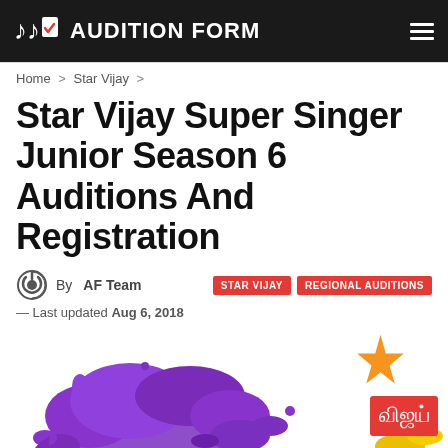AUDITION FORM
Home > Star Vijay >
Star Vijay Super Singer Junior Season 6 Auditions And Registration
By AF Team | STAR VIJAY | REGIONAL AUDITIONS
— Last updated Aug 6, 2018
[Figure (photo): Purple paint splash with Star Vijay channel logo (orange star with Tamil text 'Vijay') on the right side]